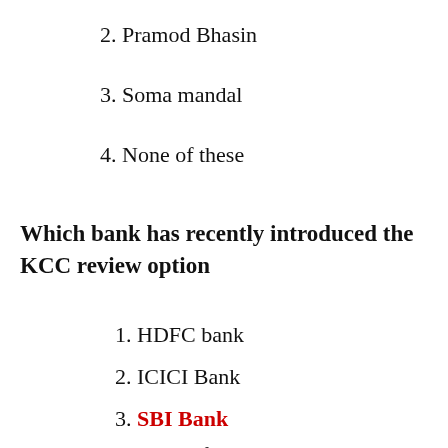2. Pramod Bhasin
3. Soma mandal
4. None of these
Which bank has recently introduced the KCC review option
1. HDFC bank
2. ICICI Bank
3. SBI Bank
4. None of these